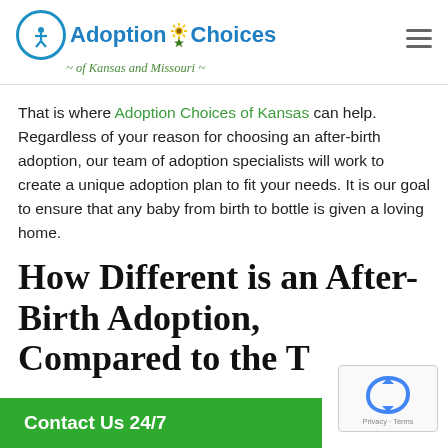Adoption Choices of Kansas and Missouri
That is where Adoption Choices of Kansas can help. Regardless of your reason for choosing an after-birth adoption, our team of adoption specialists will work to create a unique adoption plan to fit your needs. It is our goal to ensure that any baby from birth to bottle is given a loving home.
How Different is an After-Birth Adoption, Compared to the Traditional